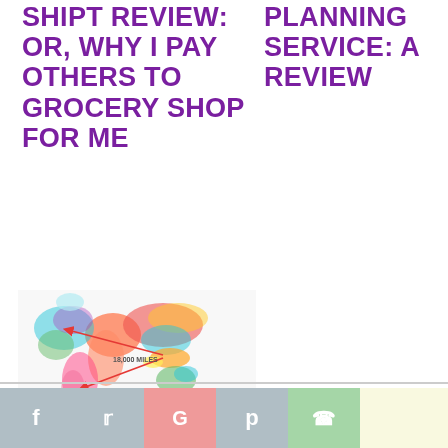SHIPT REVIEW: OR, WHY I PAY OTHERS TO GROCERY SHOP FOR ME
PLANNING SERVICE: A REVIEW
[Figure (map): Colorful world map with red arrows showing food travel distance of 18,000 miles, originating from Southeast Asia and pointing to North America and South America]
HOW FAR DOES YOUR FOOD TRAVEL?
f  t  G  p  (whatsapp icon)